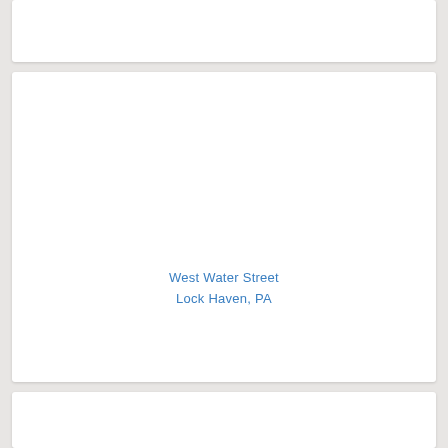West Water Street
Lock Haven, PA